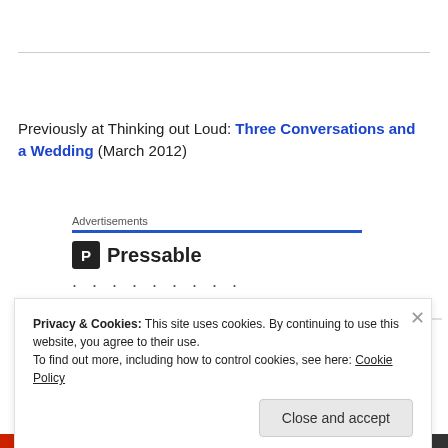Previously at Thinking out Loud: Three Conversations and a Wedding (March 2012)
[Figure (screenshot): Pressable advertisement block with blue rule, Pressable logo (P icon and text), and dots below]
Privacy & Cookies: This site uses cookies. By continuing to use this website, you agree to their use. To find out more, including how to control cookies, see here: Cookie Policy
Close and accept